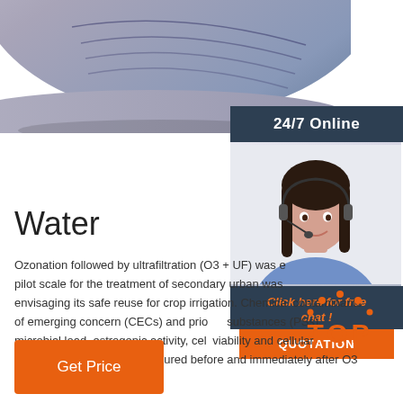[Figure (photo): Close-up photo of a folded denim/fabric cap with stitching details, shown from below against white background]
[Figure (photo): Customer service agent (woman with headset, smiling) beside a '24/7 Online' banner, 'Click here for free chat!' prompt, and orange QUOTATION button]
Water
Ozonation followed by ultrafiltration (O3 + UF) was evaluated at pilot scale for the treatment of secondary urban wastewater, envisaging its safe reuse for crop irrigation. Chemical contaminants of emerging concern (CECs) and priority substances (PSs), microbial load, estrogenic activity, cell viability and cellular metabolic activity were measured before and immediately after O3 + UF treatment.
[Figure (logo): Orange 'TOP' badge with dotted arc above the text]
Get Price